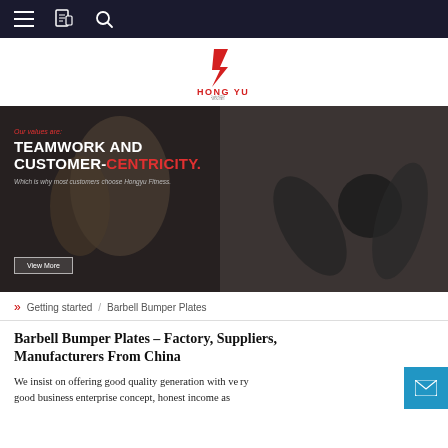Navigation bar with menu, book, and search icons
[Figure (logo): Hong Yu fitness brand logo — red stylized HY monogram above text HONG YU and Chinese characters 鸿宇]
[Figure (photo): Hero banner showing a man lifting dumbbells in a gym, with text overlay: Our values are: TEAMWORK AND CUSTOMER-CENTRICITY. Which is why most customers choose Hongyu Fitness. View More button.]
» Getting started / Barbell Bumper Plates
Barbell Bumper Plates – Factory, Suppliers, Manufacturers From China
We insist on offering good quality generation with very good business enterprise concept, honest income as